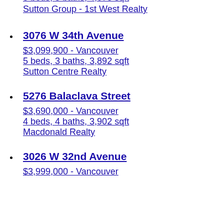$6,388,000 - Vancouver
5 beds, 5 baths, 4,075 sqft
Sutton Group - 1st West Realty
3076 W 34th Avenue
$3,099,900 - Vancouver
5 beds, 3 baths, 3,892 sqft
Sutton Centre Realty
5276 Balaclava Street
$3,690,000 - Vancouver
4 beds, 4 baths, 3,902 sqft
Macdonald Realty
3026 W 32nd Avenue
$3,999,000 - Vancouver